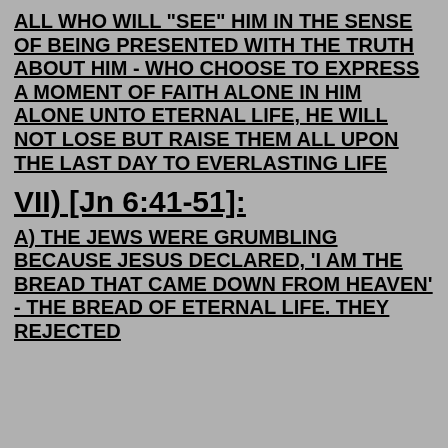ALL WHO WILL "SEE" HIM IN THE SENSE OF BEING PRESENTED WITH THE TRUTH ABOUT HIM - WHO CHOOSE TO EXPRESS A MOMENT OF FAITH ALONE IN HIM ALONE UNTO ETERNAL LIFE, HE WILL NOT LOSE BUT RAISE THEM ALL UPON THE LAST DAY TO EVERLASTING LIFE
VII) [Jn 6:41-51]:
A) THE JEWS WERE GRUMBLING BECAUSE JESUS DECLARED, 'I AM THE BREAD THAT CAME DOWN FROM HEAVEN' - THE BREAD OF ETERNAL LIFE. THEY REJECTED